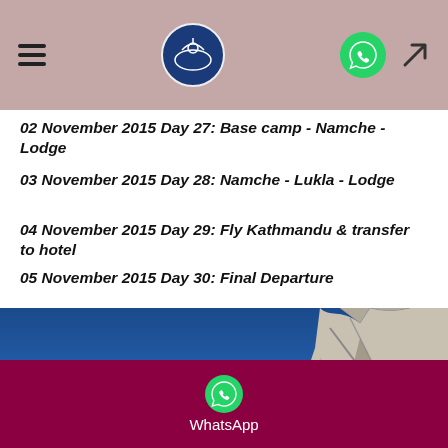Navigation header with hamburger menu, logo, WhatsApp icon, and location arrow
02 November 2015 Day 27: Base camp - Namche - Lodge
03 November 2015 Day 28: Namche - Lukla - Lodge
04 November 2015 Day 29: Fly  Kathmandu & transfer to hotel
05 November 2015 Day 30: Final Departure
[Figure (photo): Rocky mountain cliff face against a deep blue sky, with a crimson share button in the lower right corner]
WhatsApp